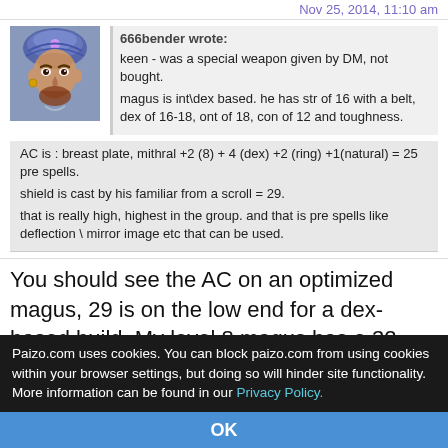Nov 25, 2014, 11:10 am
[Figure (illustration): Avatar illustration of a turbaned man with gold earring, fantasy RPG character art]
666bender wrote:
keen - was a special weapon given by DM, not bought.
magus is int\dex based. he has str of 16 with a belt, dex of 16-18, ont of 18, con of 12 and toughness.
AC is : breast plate, mithral +2 (8) + 4 (dex) +2 (ring) +1(natural) = 25 pre spells.
shield is cast by his familiar from a scroll = 29.
that is really high, highest in the group. and that is pre spells like deflection \ mirror image etc that can be used.
You should see the AC on an optimized magus, 29 is on the low end for a dex-based build. My level 8 magus has a 32 with Shield up, and he's far from optimized for combat. An AC of 35+ is obtainable by
Paizo.com uses cookies. You can block paizo.com from using cookies within your browser settings, but doing so will hinder site functionality. More information can be found in our Privacy Policy.
OK